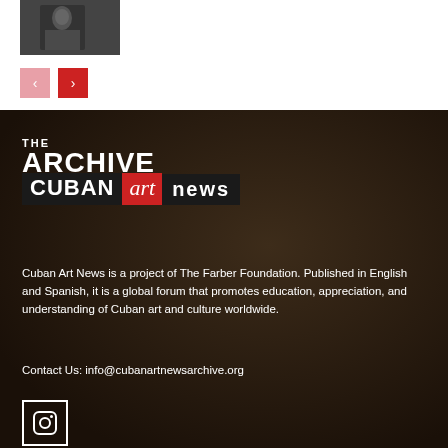[Figure (photo): Small thumbnail of a historical portrait image in black and white]
[Figure (other): Navigation buttons: left arrow (pink/light) and right arrow (red)]
[Figure (logo): The Archive Cuban Art News logo with black and red blocks on dark background]
Cuban Art News is a project of The Farber Foundation. Published in English and Spanish, it is a global forum that promotes education, appreciation, and understanding of Cuban art and culture worldwide.
Contact Us: info@cubanartnewsarchive.org
[Figure (other): Instagram icon in a white square border]